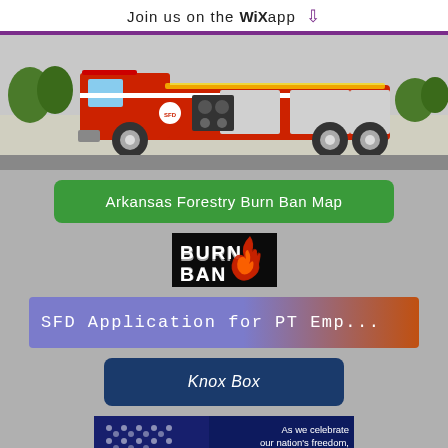Join us on the WiX app ⬇
[Figure (photo): Red fire truck parked outdoors]
Arkansas Forestry Burn Ban Map
[Figure (logo): BURN BAN badge logo in red/white on dark background]
SFD Application for PT Emp...
Knox Box
[Figure (photo): Independence Day patriotic image with sparklers and text: As we celebrate our nation's freedom, we honor the courageous men and women dedicated to preserving it. Happy Independence Day]